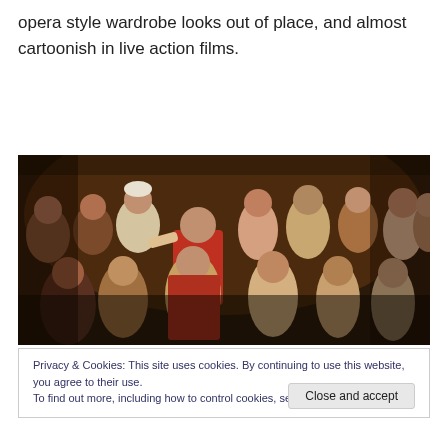opera style wardrobe looks out of place, and almost cartoonish in live action films.
[Figure (photo): A scene from what appears to be a live action film showing a crowd of people in period costumes, singing or celebrating in a tavern-like setting. A man in a red vest stands prominently in the center.]
Privacy & Cookies: This site uses cookies. By continuing to use this website, you agree to their use.
To find out more, including how to control cookies, see here: Cookie Policy